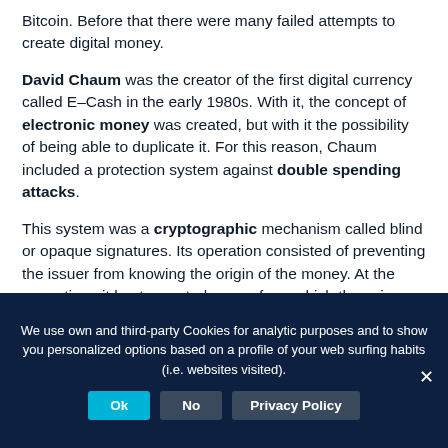Bitcoin. Before that there were many failed attempts to create digital money.
David Chaum was the creator of the first digital currency called E-Cash in the early 1980s. With it, the concept of electronic money was created, but with it the possibility of being able to duplicate it. For this reason, Chaum included a protection system against double spending attacks.
This system was a cryptographic mechanism called blind or opaque signatures. Its operation consisted of preventing the issuer from knowing the origin of the money. At the same time, it kept a central server from which the coins were kept under control, thus
We use own and third-party Cookies for analytic purposes and to show you personalized options based on a profile of your web surfing habits (i.e. websites visited).